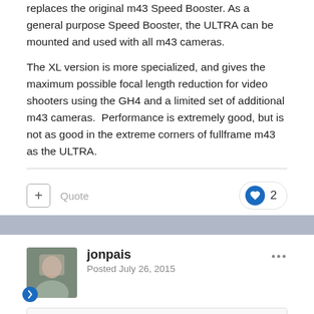replaces the original m43 Speed Booster. As a general purpose Speed Booster, the ULTRA can be mounted and used with all m43 cameras.
The XL version is more specialized, and gives the maximum possible focal length reduction for video shooters using the GH4 and a limited set of additional m43 cameras.  Performance is extremely good, but is not as good in the extreme corners of fullframe m43 as the ULTRA.
jonpais
Posted July 26, 2015
On 7/25/2015 at 8:17 PM, Cassius McGowan said:
So it's time to sell off my Panny 12-35 2.8 and get a Sigma 18-35 1.8 with a MB.